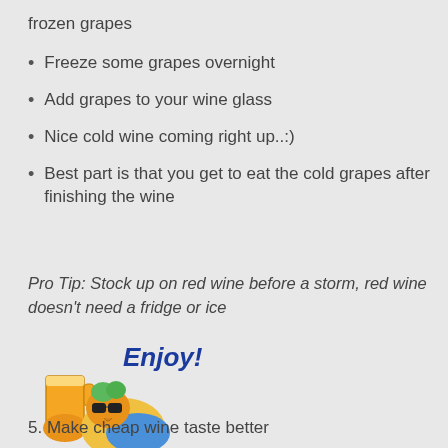frozen grapes
Freeze some grapes overnight
Add grapes to your wine glass
Nice cold wine coming right up..:)
Best part is that you get to eat the cold grapes after finishing the wine
Pro Tip: Stock up on red wine before a storm, red wine doesn't need a fridge or ice
[Figure (illustration): Cartoon parrot holding a beer mug with 'Enjoy!' text in bold blue]
5. Make cheap wine taste better